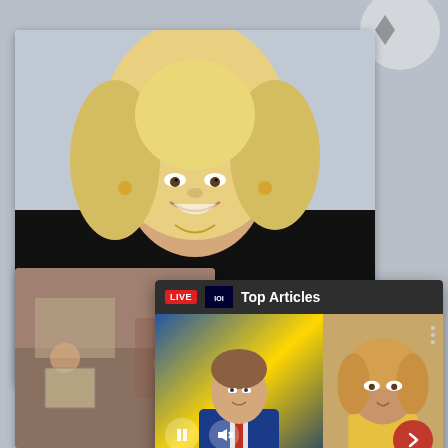[Figure (photo): Background: smiling blond woman in black sequin outfit at an event, partially visible behind overlaid cards]
[Figure (screenshot): Article card: Dolly Parton photo at top, headline 'Dolly Par... Implores' and date 'March 3, 20...']
Dolly Par... Implores
March 3, 20...
[Figure (screenshot): Fox News video player overlay with LIVE badge, 'Top Articles' label, anchor on left, woman on right, video controls (pause/mute/next arrow), ticker bar reading 'PA SCHOOL DISTRICT ALLOWING SATAN CLUB EVENT', footer title 'Pennsylvaniamomripsschool...']
Pennsylvaniamomripsschool...